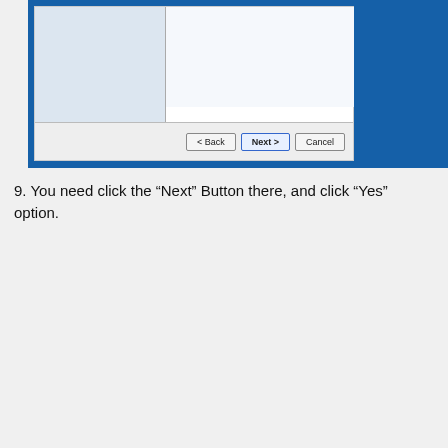[Figure (screenshot): Partial view of a Windows installer/wizard dialog showing a two-pane layout with left panel (light blue) and right panel (white), with Back, Next, and Cancel buttons at the bottom on a blue background.]
9. You need click the “Next” Button there, and click “Yes” option.
[Figure (screenshot): Windows desktop with blue background showing a System Restore completion dialog. The dialog reads: 'System Restore completed successfully. The system has been restored to 11/23/2012 2:53:56 AM. Your documents have not been affected. Click Restart button to restart the computer.' A Restart button is partially visible at the bottom. A vimastech.com watermark is in the top-right corner. A blue chat button is visible in the bottom-right.]